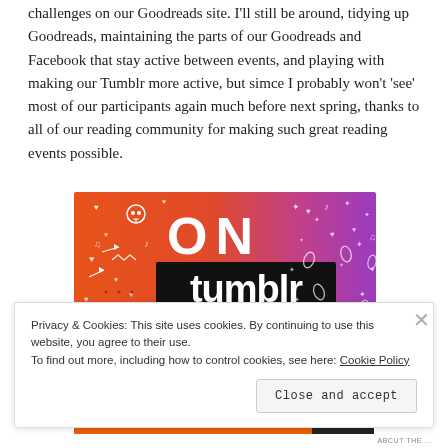challenges on our Goodreads site. I'll still be around, tidying up Goodreads, maintaining the parts of our Goodreads and Facebook that stay active between events, and playing with making our Tumblr more active, but simce I probably won't 'see' most of our participants again much before next spring, thanks to all of our reading community for making such great reading events possible.
[Figure (illustration): Tumblr promotional banner with colorful orange-to-purple gradient background, white doodle icons (skull, hearts, music notes, arrows, leaves), large bold text 'ON tumblr' in white/black, cartoon octopus and green character]
Privacy & Cookies: This site uses cookies. By continuing to use this website, you agree to their use.
To find out more, including how to control cookies, see here: Cookie Policy
Close and accept